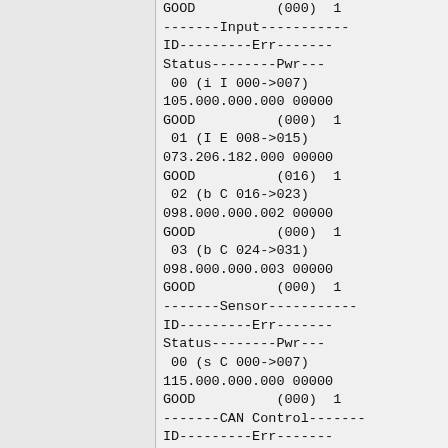GOOD          (000)  1
-------Input-----------
ID---------Err-------
Status--------Pwr---
 00 (i I 000->007)
105.000.000.000 00000
GOOD          (000)  1
 01 (I E 008->015)
073.206.182.000 00000
GOOD          (016)  1
 02 (b C 016->023)
098.000.000.002 00000
GOOD          (000)  1
 03 (b C 024->031)
098.000.000.003 00000
GOOD          (000)  1
-------Sensor-----------
ID---------Err-------
Status--------Pwr---
 00 (s C 000->007)
115.000.000.000 00000
GOOD          (000)  1
-------CAN Control-------
ID---------Err-------
Status---------Pwr---